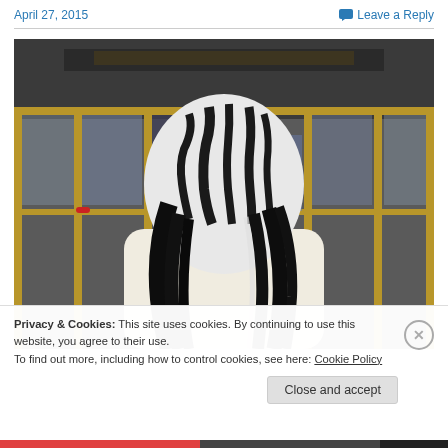April 27, 2015
Leave a Reply
[Figure (photo): Person wearing a white zebra-print face-covering balaclava with black stripes, long black hair, and a white/cream colored top, standing in front of building entrance with gold-framed glass doors]
Privacy & Cookies: This site uses cookies. By continuing to use this website, you agree to their use.
To find out more, including how to control cookies, see here: Cookie Policy
Close and accept